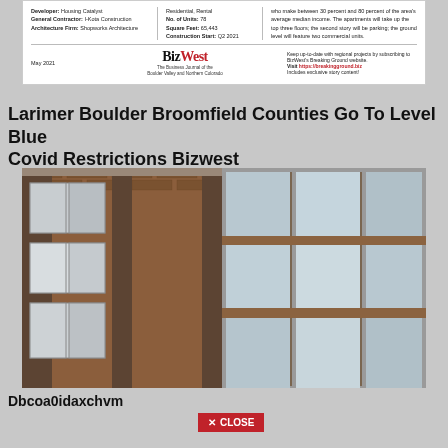[Figure (other): BizWest magazine header card showing Developer, General Contractor, Architecture Firm columns, project details, BizWest logo, May 2021 date, and subscription information]
Larimer Boulder Broomfield Counties Go To Level Blue Covid Restrictions Bizwest
[Figure (photo): Close-up photograph of a brick building facade with large white-framed windows, multiple stories, taken from a low angle]
Dbcoa0idaxchvm